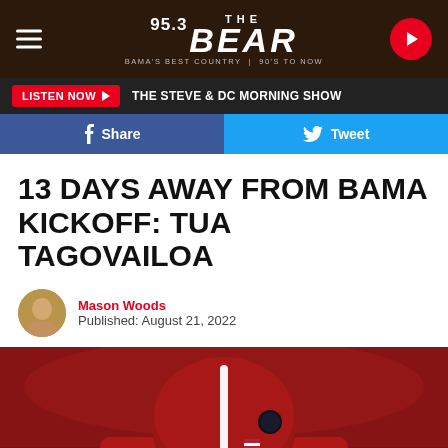95.3 THE BEAR — BAMA'S BEST COUNTRY | 90'S TO NOW
LISTEN NOW ▶  THE STEVE & DC MORNING SHOW
f Share   🐦 Tweet
13 DAYS AWAY FROM BAMA KICKOFF: TUA TAGOVAILOA
Mason Woods
Published: August 21, 2022
[Figure (photo): Alabama football player (Tua Tagovailoa) viewed from behind, wearing crimson Riddell helmet with white stripe and championship logo sticker, in stadium setting. Jersey name TAGOVAILOA visible at bottom.]